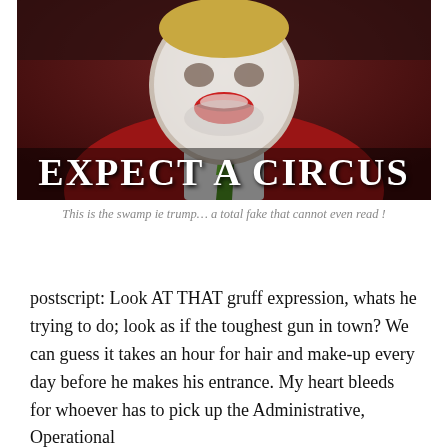[Figure (photo): A digitally altered photo of a man in a red suit with a green and yellow striped tie, his face edited to appear as a clown with white face paint and red mouth. Large white text at the bottom reads 'EXPECT A CIRCUS'.]
This is the swamp ie trump… a total fake that cannot even read !
postscript: Look AT THAT gruff expression, whats he trying to do; look as if the toughest gun in town? We can guess it takes an hour for hair and make-up every day before he makes his entrance. My heart bleeds for whoever has to pick up the Administrative, Operational